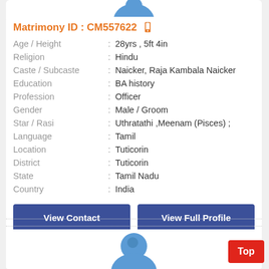[Figure (illustration): Partial profile avatar image at top of card (blue illustrated person icon, cropped)]
Matrimony ID : CM557622
| Field |  | Value |
| --- | --- | --- |
| Age / Height | : | 28yrs , 5ft 4in |
| Religion | : | Hindu |
| Caste / Subcaste | : | Naicker, Raja Kambala Naicker |
| Education | : | BA history |
| Profession | : | Officer |
| Gender | : | Male / Groom |
| Star / Rasi | : | Uthratathi ,Meenam (Pisces) ; |
| Language | : | Tamil |
| Location | : | Tuticorin |
| District | : | Tuticorin |
| State | : | Tamil Nadu |
| Country | : | India |
View Contact
View Full Profile
[Figure (illustration): Partial profile avatar image at bottom of page (blue illustrated person icon, cropped)]
Top